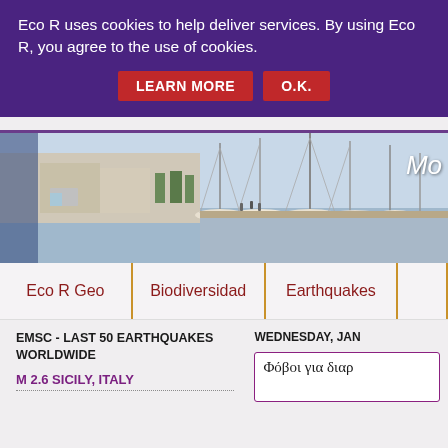Eco R uses cookies to help deliver services. By using Eco R, you agree to the use of cookies.
LEARN MORE   O.K.
[Figure (photo): Harbor/marina photo showing sailboats and yachts docked, with buildings in background]
Mo
Eco R Geo   |   Biodiversidad   |   Earthquakes   |
EMSC - LAST 50 EARTHQUAKES WORLDWIDE
M 2.6 SICILY, ITALY
WEDNESDAY, JAN
Φόβοι για διαρ